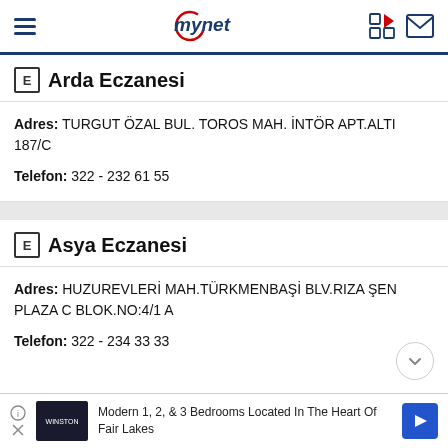mynet
Arda Eczanesi
Adres: TURGUT ÖZAL BUL. TOROS MAH. İNTÖR APT.ALTI 187/C
Telefon: 322 - 232 61 55
Asya Eczanesi
Adres: HUZUREVLERİ MAH.TÜRKMENBAŞİ BLV.RIZA ŞEN PLAZA C BLOK.NO:4/1 A
Telefon: 322 - 234 33 33